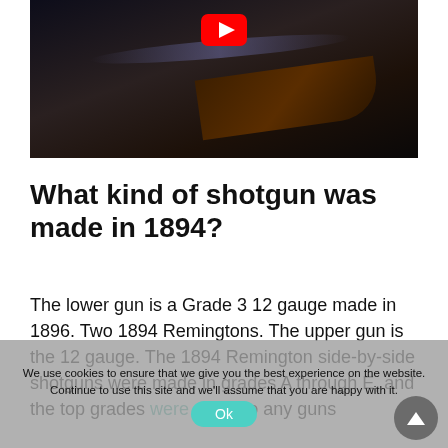[Figure (screenshot): YouTube video thumbnail showing close-up of a shotgun barrel and stock against dark background, with YouTube play button icon visible at top center]
What kind of shotgun was made in 1894?
The lower gun is a Grade 3 12 gauge made in 1896. Two 1894 Remingtons. The upper gun is the 12 gauge. The 1894 Remington side-by-side shotguns were made in grades A through E, and the top grades were equal to any guns
We use cookies to ensure that we give you the best experience on the website. Continue to use this site and we'll assume that you are happy with it.
Ok